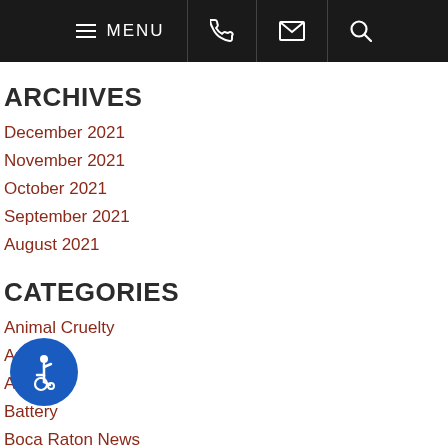MENU
ARCHIVES
December 2021
November 2021
October 2021
September 2021
August 2021
CATEGORIES
Animal Cruelty
Arson
Assault
Battery
Boca Raton News
Burglary
Civil Rights
Constitutional Rights
Counterfeiting
COVID-19
Criminal